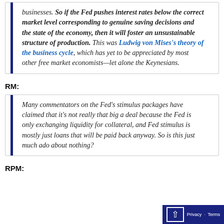businesses. So if the Fed pushes interest rates below the correct market level corresponding to genuine saving decisions and the state of the economy, then it will foster an unsustainable structure of production. This was Ludwig von Mises's theory of the business cycle, which has yet to be appreciated by most other free market economists—let alone the Keynesians.
RM:
Many commentators on the Fed's stimulus packages have claimed that it's not really that big a deal because the Fed is only exchanging liquidity for collateral, and Fed stimulus is mostly just loans that will be paid back anyway. So is this just much ado about nothing?
RPM: